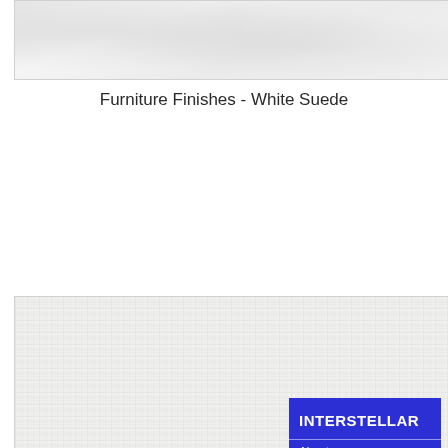[Figure (photo): Close-up texture of a white/light grey suede or fabric material — top image]
Furniture Finishes - White Suede
[Figure (photo): Close-up texture of a woven white fabric or burlap material — bottom image, with blue navigation overlay in bottom-right corner]
INTERSTELLAR
About
Designs
Floor Plans
Interior Packs
Site Plan & Pricing
Videos